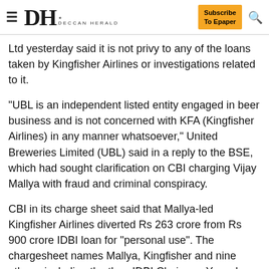DH DECCAN HERALD | Subscribe To Epaper
Ltd yesterday said it is not privy to any of the loans taken by Kingfisher Airlines or investigations related to it.
"UBL is an independent listed entity engaged in beer business and is not concerned with KFA (Kingfisher Airlines) in any manner whatsoever," United Breweries Limited (UBL) said in a reply to the BSE, which had sought clarification on CBI charging Vijay Mallya with fraud and criminal conspiracy.
CBI in its charge sheet said that Mallya-led Kingfisher Airlines diverted Rs 263 crore from Rs 900 crore IDBI loan for "personal use". The chargesheet names Mallya, Kingfisher and nine others, including the then IDBI Chairman Yogesh Aggarwal who was arrested on Monday, in the 2015 loan default case